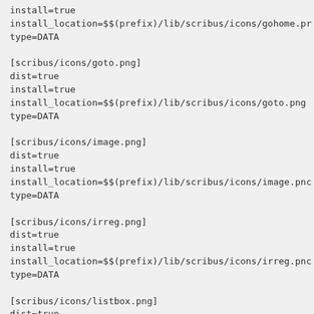install=true
install_location=$$(prefix)/lib/scribus/icons/gohome.png
type=DATA
[scribus/icons/goto.png]
dist=true
install=true
install_location=$$(prefix)/lib/scribus/icons/goto.png
type=DATA
[scribus/icons/image.png]
dist=true
install=true
install_location=$$(prefix)/lib/scribus/icons/image.png
type=DATA
[scribus/icons/irreg.png]
dist=true
install=true
install_location=$$(prefix)/lib/scribus/icons/irreg.png
type=DATA
[scribus/icons/listbox.png]
dist=true
install=true
install_location=$$(prefix)/lib/scribus/icons/listbox.png
type=DATA